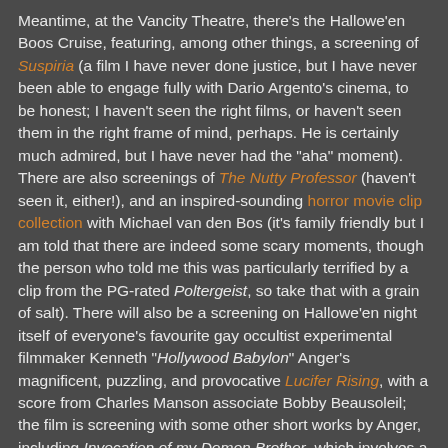Meantime, at the Vancity Theatre, there's the Hallowe'en Boos Cruise, featuring, among other things, a screening of Suspiria (a film I have never done justice, but I have never been able to engage fully with Dario Argento's cinema, to be honest; I haven't seen the right films, or haven't seen them in the right frame of mind, perhaps. He is certainly much admired, but I have never had the "aha" moment). There are also screenings of The Nutty Professor (haven't seen it, either!), and an inspired-sounding horror movie clip collection with Michael van den Bos (it's family friendly but I am told that there are indeed some scary moments, though the person who told me this was particularly terrified by a clip from the PG-rated Poltergeist, so take that with a grain of salt). There will also be a screening on Hallowe'en night itself of everyone's favourite gay occultist experimental filmmaker Kenneth "Hollywood Babylon" Anger's magnificent, puzzling, and provocative Lucifer Rising, with a score from Charles Manson associate Bobby Beausoleil; the film is screening with some other short works by Anger, including Invocation of my Demon Brother, which involves a very decadent-looking, Performance-era Mick Jagger (though his results have a kind of...